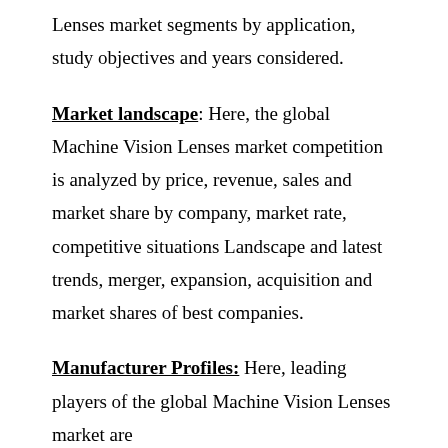Lenses market segments by application, study objectives and years considered.
Market landscape: Here, the global Machine Vision Lenses market competition is analyzed by price, revenue, sales and market share by company, market rate, competitive situations Landscape and latest trends, merger, expansion, acquisition and market shares of best companies.
Manufacturer Profiles: Here, leading players of the global Machine Vision Lenses market are